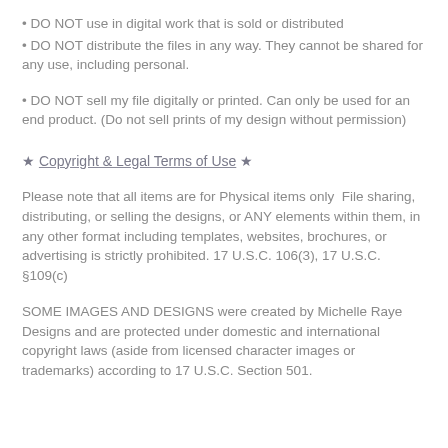• DO NOT use in digital work that is sold or distributed
• DO NOT distribute the files in any way. They cannot be shared for any use, including personal.
• DO NOT sell my file digitally or printed. Can only be used for an end product. (Do not sell prints of my design without permission)
★ Copyright & Legal Terms of Use ★
Please note that all items are for Physical items only  File sharing, distributing, or selling the designs, or ANY elements within them, in any other format including templates, websites, brochures, or advertising is strictly prohibited. 17 U.S.C. 106(3), 17 U.S.C. §109(c)
SOME IMAGES AND DESIGNS were created by Michelle Raye Designs and are protected under domestic and international copyright laws (aside from licensed character images or trademarks) according to 17 U.S.C. Section 501.